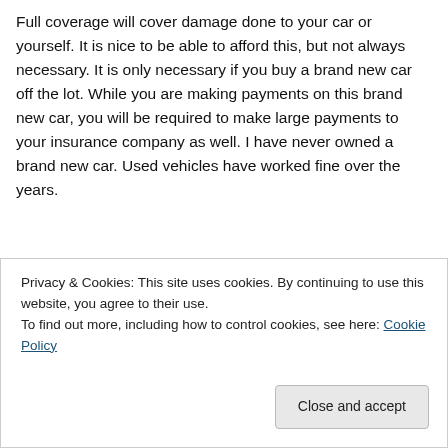Full coverage will cover damage done to your car or yourself. It is nice to be able to afford this, but not always necessary. It is only necessary if you buy a brand new car off the lot. While you are making payments on this brand new car, you will be required to make large payments to your insurance company as well. I have never owned a brand new car. Used vehicles have worked fine over the years.
[Figure (illustration): Certificate of Adulthood - a decorative certificate with ornate border and text reading 'Certificate of Adulthood' and 'In recognition of gaining necessary skills']
Privacy & Cookies: This site uses cookies. By continuing to use this website, you agree to their use.
To find out more, including how to control cookies, see here: Cookie Policy